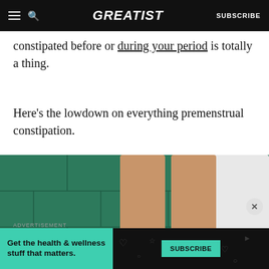GREATIST — SUBSCRIBE
constipated before or during your period is totally a thing.
Here's the lowdown on everything premenstrual constipation.
[Figure (photo): Person sitting on toilet from behind, legs visible, wearing red shorts pulled down, toilet paper roll on green tiled floor]
ADVERTISEMENT
Get the health & wellness stuff that matters. SUBSCRIBE